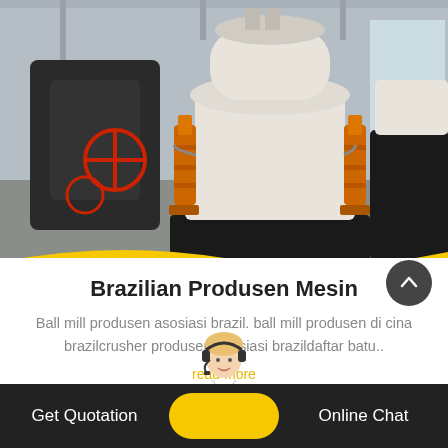[Figure (photo): Industrial cone crusher machines photographed in a factory/warehouse setting. Large beige/white heavy machinery with orange hydraulic cylinders visible, black base frames, on a concrete factory floor. Multiple units visible in background.]
Brazilian Produsen Mesin
Ball mill produsen asosiasi brazil. ball mill produsen di cina brazilcrusher produsen asosiasi brazildaftar batu..
read more
Get Quotation  Online Chat